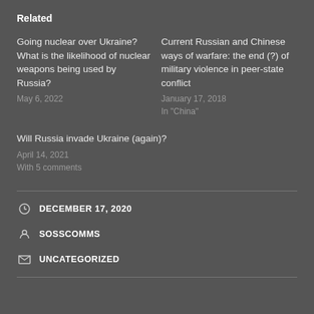Related
Going nuclear over Ukraine? What is the likelihood of nuclear weapons being used by Russia?
May 6, 2022
Current Russian and Chinese ways of warfare: the end (?) of military violence in peer-state conflict
January 17, 2018
In "China"
Will Russia invade Ukraine (again)?
April 14, 2021
With 5 comments
DECEMBER 17, 2020
SOSSCOMMS
UNCATEGORIZED